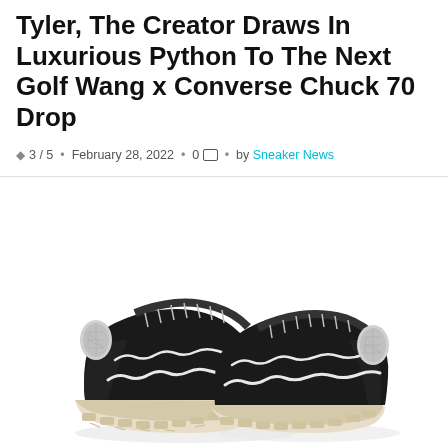Tyler, The Creator Draws In Luxurious Python To The Next Golf Wang x Converse Chuck 70 Drop
3/5 • February 28, 2022 • 0 [comment] • by Sneaker News
[Figure (photo): A pair of black low-top sneakers (Golf Wang x Converse Chuck 70) with wavy white trim details, black laces, silver/white heel tab, and a chunky cream/off-white lugged sole, shown on a white background.]